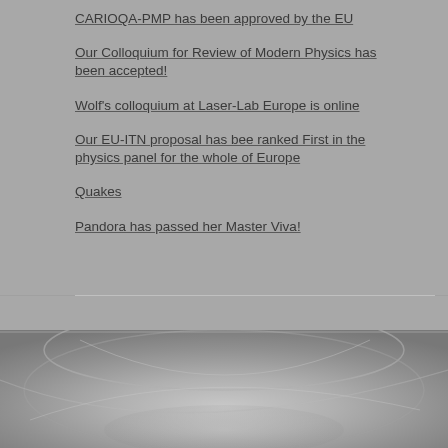CARIOQA-PMP has been approved by the EU
Our Colloquium for Review of Modern Physics has been accepted!
Wolf's colloquium at Laser-Lab Europe is online
Our EU-ITN proposal has bee ranked First in the physics panel for the whole of Europe
Quakes
Pandora has passed her Master Viva!
[Figure (photo): Grayscale photograph of a scientific or laboratory object, appears to show glassware or optical equipment with curved surfaces, bottom portion of page]